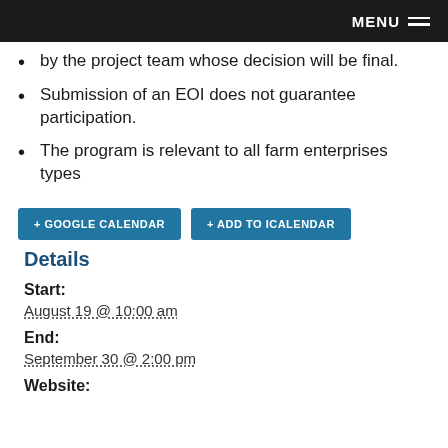MENU
by the project team whose decision will be final.
Submission of an EOI does not guarantee participation.
The program is relevant to all farm enterprises types
+ GOOGLE CALENDAR   + ADD TO ICALENDAR
Details
Start:
August 19 @ 10:00 am
End:
September 30 @ 2:00 pm
Website: